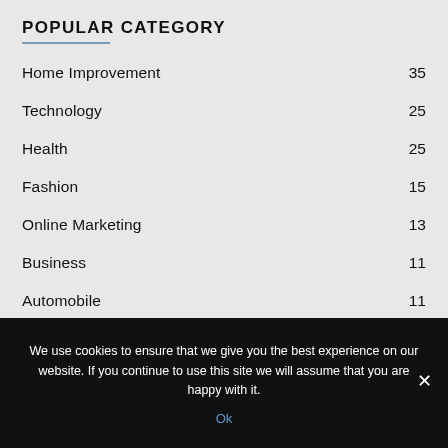POPULAR CATEGORY
Home Improvement  35
Technology  25
Health  25
Fashion  15
Online Marketing  13
Business  11
Automobile  11
Finance  9
We use cookies to ensure that we give you the best experience on our website. If you continue to use this site we will assume that you are happy with it.
Ok